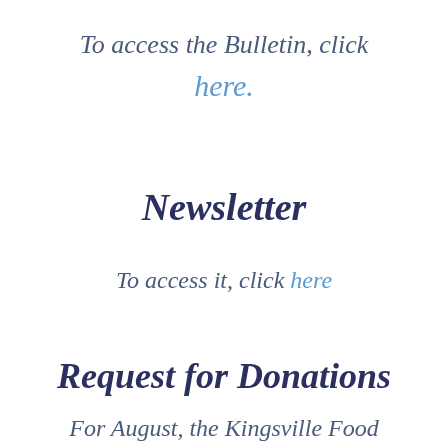To access the Bulletin, click here.
Newsletter
To access it, click here
Request for Donations
For August, the Kingsville Food